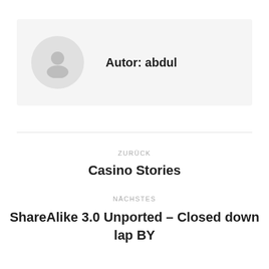[Figure (illustration): Author profile box with a grey circular avatar icon showing a generic person silhouette, and the text 'Autor: abdul' to the right.]
Autor: abdul
ZURÜCK
Casino Stories
NÄCHSTES
ShareAlike 3.0 Unported – Closed down lap BY